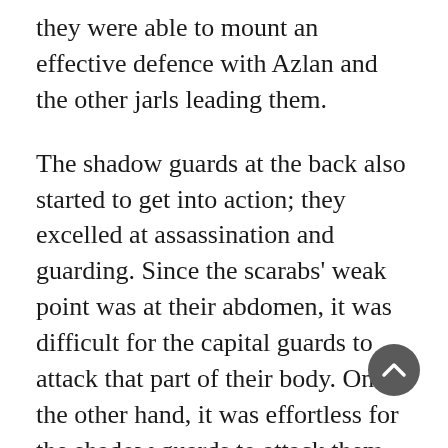they were able to mount an effective defence with Azlan and the other jarls leading them.
The shadow guards at the back also started to get into action; they excelled at assassination and guarding. Since the scarabs' weak point was at their abdomen, it was difficult for the capital guards to attack that part of their body. On the other hand, it was effortless for the shadow guards to attack them. The arrows were first shot from the dark to overturn the scarabs that were crawling on the ground. Another batch of arrows was then shot towards their abdomens to kill them. Thick, yellow liquid began to flow out from the arrow wounds. After flailing their